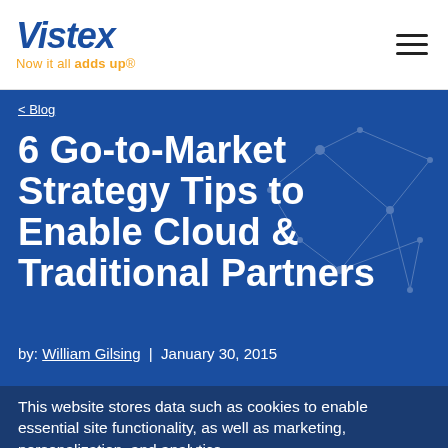Vistex — Now it all adds up
< Blog
6 Go-to-Market Strategy Tips to Enable Cloud & Traditional Partners
by: William Gilsing  |  January 30, 2015
This website stores data such as cookies to enable essential site functionality, as well as marketing, personalization, and analytics